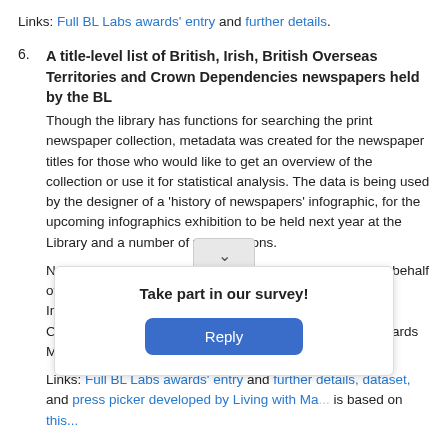Links: Full BL Labs awards' entry and further details.
6. A title-level list of British, Irish, British Overseas Territories and Crown Dependencies newspapers held by the BL
Though the library has functions for searching the print newspaper collection, metadata was created for the newspaper titles for those who would like to get an overview of the collection or use it for statistical analysis. The data is being used by the designer of a 'history of newspapers' infographic, for the upcoming infographics exhibition to be held next year at the Library and a number of visualisations.

Nominated by Yann Ryan (Digital Newspaper Curator) on behalf of himself, Luke McKernan (Lead Curator News & Moving Image Collections), Stephen Lester (Curator Newspaper Collections) and Alan Danskin (Collection Metadata Standards Manager)

Links: Full BL Labs awards' entry and further details, dataset, and press picker developed by Living with Ma... is based on this...
7. Ext...
The... xt ext... uments,
[Figure (other): Survey popup overlay with dropdown arrow button, showing 'Take part in our survey!' title and a blue 'Reply' button]